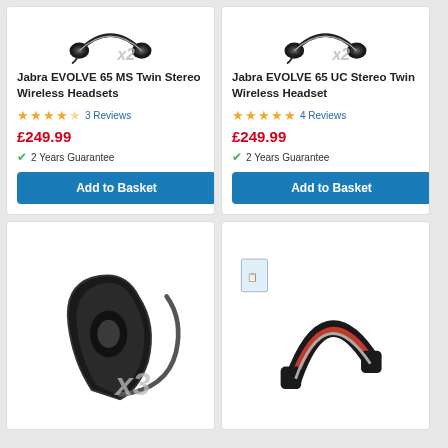[Figure (photo): Jabra EVOLVE 65 MS Twin Stereo Wireless Headsets product image with x2 badge]
Jabra EVOLVE 65 MS Twin Stereo Wireless Headsets
★★★★☆ 3 Reviews
£249.99
✓ 2 Years Guarantee
Add to Basket
[Figure (photo): Jabra EVOLVE 65 UC Stereo Twin Wireless Headset product image with x2 badge]
Jabra EVOLVE 65 UC Stereo Twin Wireless Headset
★★★★★ 4 Reviews
£249.99
✓ 2 Years Guarantee
Add to Basket
[Figure (photo): Wireless earpiece/headset product image with x3 badge]
[Figure (photo): Red and black over-ear wireless headset product image]